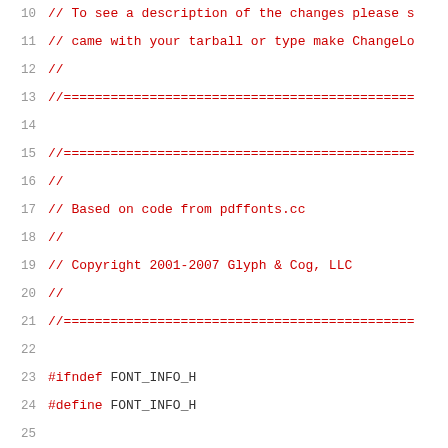10  // To see a description of the changes please s
11  // came with your tarball or type make ChangeLo
12  //
13  //=============================================
14
15  //=============================================
16  //
17  // Based on code from pdffonts.cc
18  //
19  // Copyright 2001-2007 Glyph & Cog, LLC
20  //
21  //=============================================
22
23  #ifndef FONT_INFO_H
24  #define FONT_INFO_H
25
26  #include "goo/gtypes.h"
27  #include "goo/GooList.h"
28
29  class FontInfo {
30  public:
31    enum Type {